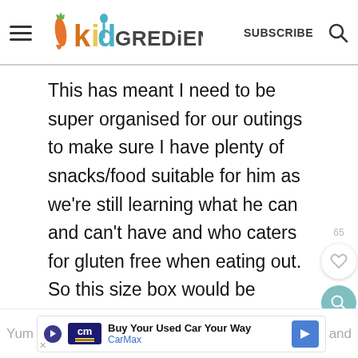kidGREDiENTS | SUBSCRIBE
This has meant I need to be super organised for our outings to make sure I have plenty of snacks/food suitable for him as we're still learning what he can and can't have and who caters for gluten free when eating out. So this size box would be perfect for us! Currently he loves my homemade sushi, mini quiches, mini pizzas, hummus with carrot & celery sticks and my special fried rice, we love
Yum and